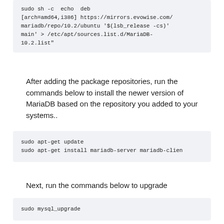sudo sh -c  echo  deb [arch=amd64,i386] https://mirrors.evowise.com/mariadb/repo/10.2/ubuntu '$(lsb_release -cs)' main' > /etc/apt/sources.list.d/MariaDB-10.2.list"
After adding the package repositories, run the commands below to install the newer version of MariaDB based on the repository you added to your systems..
sudo apt-get update
sudo apt-get install mariadb-server mariadb-clien
Next, run the commands below to upgrade
sudo mysql_upgrade